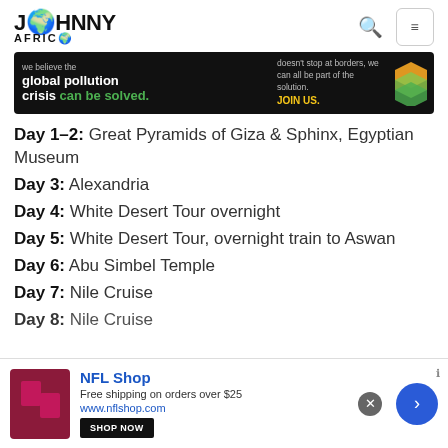JOHNNY AFRICA
[Figure (screenshot): Advertisement banner: 'we believe the global pollution crisis can be solved. doesn't stop at borders, we can all be part of the solution. JOIN US.' with green chevron logo]
Day 1–2: Great Pyramids of Giza & Sphinx, Egyptian Museum
Day 3: Alexandria
Day 4: White Desert Tour overnight
Day 5: White Desert Tour, overnight train to Aswan
Day 6: Abu Simbel Temple
Day 7: Nile Cruise
Day 8: Nile Cruise
[Figure (screenshot): Bottom advertisement: NFL Shop — Free shipping on orders over $25, www.nflshop.com, SHOP NOW button]